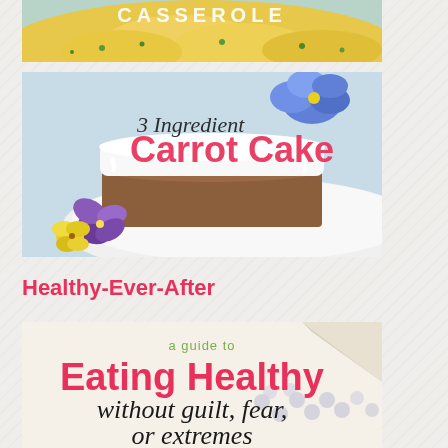[Figure (photo): Top portion of a casserole dish with yellow cheesy food and green herbs, with text CASSEROLE overlaid at top]
[Figure (photo): A slice of white-frosted carrot cake on a plate decorated with purple and yellow pansy flowers. Text overlaid: '3 Ingredient' in black script and 'Carrot Cake' in bold pink.]
Healthy-Ever-After
[Figure (photo): Book cover or guide image showing 'a guide to Eating Healthy without guilt, fear, or extremes' with pink and black text over a food background with small round beads/pearls]